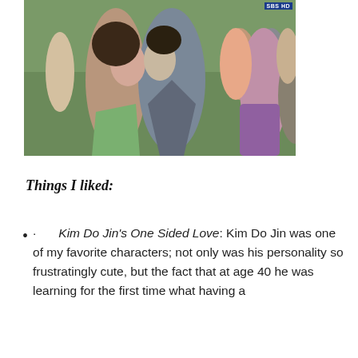[Figure (photo): A still from a Korean TV drama (SBS HD) showing a couple kissing in the foreground, surrounded by a crowd of onlookers reacting with surprise and excitement. Green trees are visible in the background.]
Things I liked:
· Kim Do Jin's One Sided Love: Kim Do Jin was one of my favorite characters; not only was his personality so frustratingly cute, but the fact that at age 40 he was learning for the first time what having a